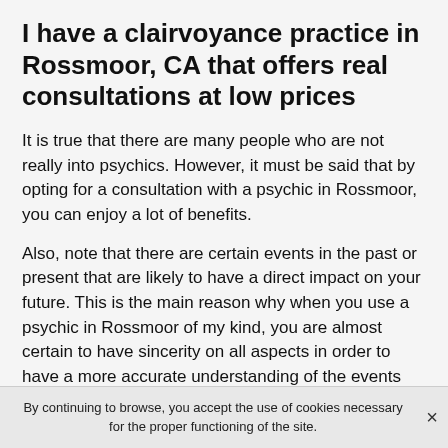I have a clairvoyance practice in Rossmoor, CA that offers real consultations at low prices
It is true that there are many people who are not really into psychics. However, it must be said that by opting for a consultation with a psychic in Rossmoor, you can enjoy a lot of benefits.
Also, note that there are certain events in the past or present that are likely to have a direct impact on your future. This is the main reason why when you use a psychic in Rossmoor of my kind, you are almost certain to have sincerity on all aspects in order to have a more accurate understanding of the events that are upsetting you.
By continuing to browse, you accept the use of cookies necessary for the proper functioning of the site.